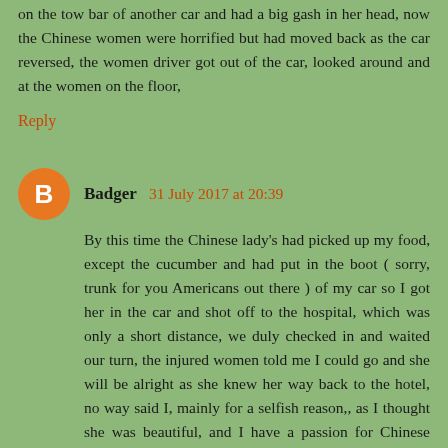on the tow bar of another car and had a big gash in her head, now the Chinese women were horrified but had moved back as the car reversed, the women driver got out of the car, looked around and at the women on the floor,
Reply
Badger  31 July 2017 at 20:39
By this time the Chinese lady's had picked up my food, except the cucumber and had put in the boot ( sorry, trunk for you Americans out there ) of my car so I got her in the car and shot off to the hospital, which was only a short distance, we duly checked in and waited our turn, the injured women told me I could go and she will be alright as she knew her way back to the hotel, no way said I, mainly for a selfish reason,, as I thought she was beautiful, and I have a passion for Chinese women anyway,, so I'm taking full advantage,, anyway 4 hours later we leave the hospital, so I invited her to go for a tea, to help calm her, and she agreed (yahoooooo ) we spent the entire day together, talking and walking around the town and park,, oppsss what about that frozen food in the boot, yer joking, you don't think I am worried about that do you, I'm have a great time with a lovely gentle